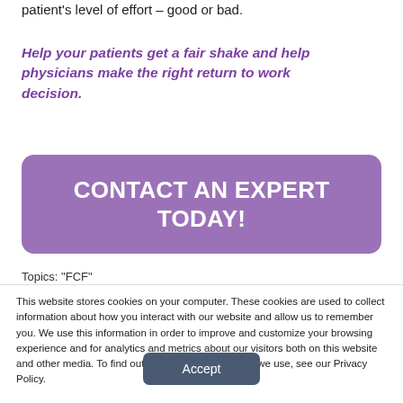patient's level of effort – good or bad.
Help your patients get a fair shake and help physicians make the right return to work decision.
[Figure (other): Purple rounded button with white text reading CONTACT AN EXPERT TODAY!]
Topics: "FCF"
This website stores cookies on your computer. These cookies are used to collect information about how you interact with our website and allow us to remember you. We use this information in order to improve and customize your browsing experience and for analytics and metrics about our visitors both on this website and other media. To find out more about the cookies we use, see our Privacy Policy.
Accept